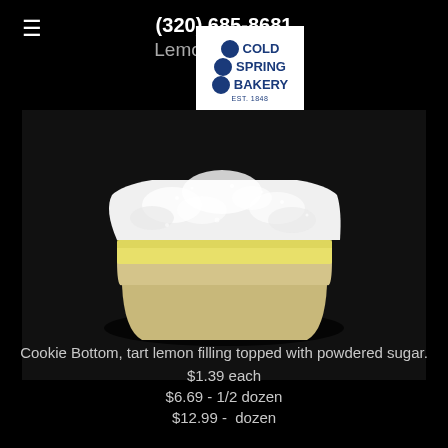(320) 685-8681
Lemon Drop Bar
[Figure (photo): A lemon bar with a cookie bottom, yellow lemon curd filling, and a generous topping of powdered sugar, photographed on a dark background. Cold Spring Bakery logo overlay in upper center.]
Cookie Bottom, tart lemon filling topped with powdered sugar.
$1.39 each
$6.69 - 1/2 dozen
$12.99 -  dozen